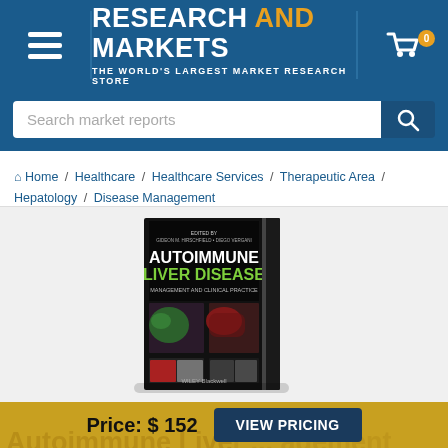[Figure (logo): Research and Markets logo with hamburger menu and shopping cart on blue header background]
Search market reports
Home / Healthcare / Healthcare Services / Therapeutic Area / Hepatology / Disease Management
[Figure (photo): Book cover: Autoimmune Liver Disease - Management and Clinical Practice, Wiley Blackwell]
Price: $ 152
VIEW PRICING
Autoimmune Liver Disease Management